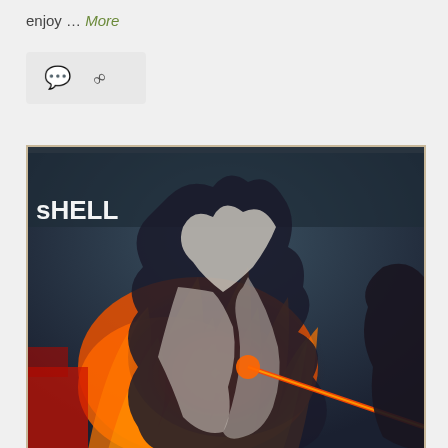enjoy … More
[Figure (screenshot): Screenshot of an anime scene showing a character with flame effects and a red laser/beam. Text 'sHELL' visible in upper left of the screen capture.]